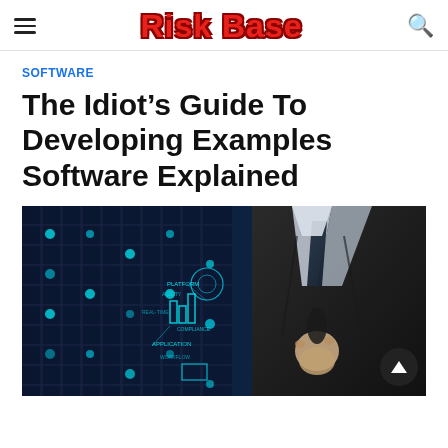Risk Base
SOFTWARE
The Idiot’s Guide To Developing Examples Software Explained
[Figure (photo): A person in a business suit holding a jacket, with a digital software/tech overlay showing platform, application, and other tech terms on a dark blue server room background.]